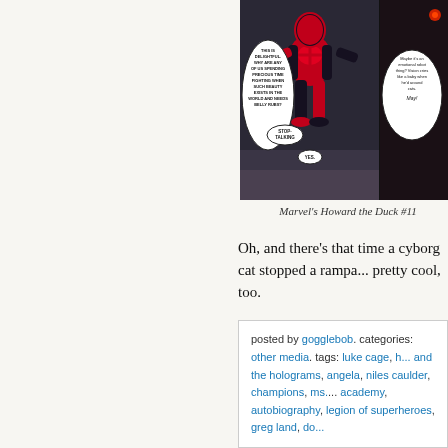[Figure (illustration): Comic book panel from Marvel's Howard the Duck #11 showing Spider-Man from behind in a black and red suit with speech bubbles. One bubble reads: 'THIS IS DELIGHTFUL. WHY ARE ANY OF US SPENDING PRECIOUS TIME FIGHTING WHEN SUCH BEAUTY EXISTS IN THE WORLD AND NEEDS BELLY RUBS? STOP TALKING. YES.' Another bubble reads: 'Maybe it's an emotional robot thing? Vision cries like a baby when he'd around cats. May!']
Marvel's Howard the Duck #11
Oh, and there's that time a cyborg cat stopped a rampa... pretty cool, too.
Share this:
posted by gogglebob. categories: other media. tags: luke cage, h... and the holograms, angela, niles caulder, champions, ms.... academy, autobiography, legion of superheroes, greg land, do...